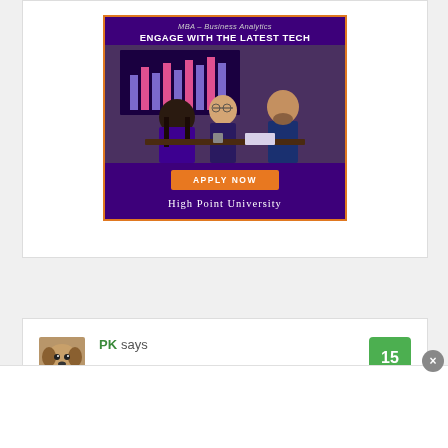[Figure (advertisement): High Point University MBA – Business Analytics advertisement with purple background, orange border, photo of people in a business meeting, 'APPLY NOW' orange button, and 'High Point University' text in white serif font.]
PK says
[Figure (photo): Small avatar photo of a dog]